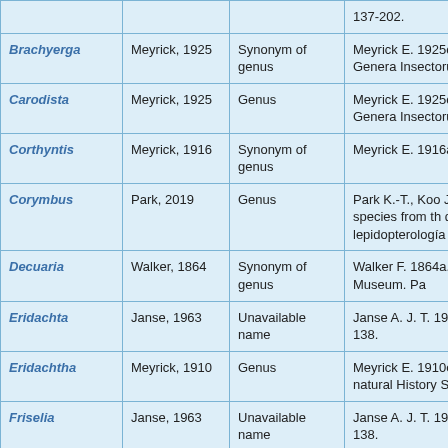| Taxon | Author | Status | Reference |
| --- | --- | --- | --- |
|  |  |  | 137-202. |
| Brachyerga | Meyrick, 1925 | Synonym of genus | Meyrick E. 1925c. L Genera Insectorum |
| Carodista | Meyrick, 1925 | Genus | Meyrick E. 1925c. L Genera Insectorum |
| Corthyntis | Meyrick, 1916 | Synonym of genus | Meyrick E. 1916a. E |
| Corymbus | Park, 2019 | Genus | Park K.-T., Koo J.-M new species from th de lepidopterología |
| Decuaria | Walker, 1864 | Synonym of genus | Walker F. 1864a. Li British Museum. Pa |
| Eridachta | Janse, 1963 | Unavailable name | Janse A. J. T. 1963. 130-138. |
| Eridachtha | Meyrick, 1910 | Genus | Meyrick E. 1910e. D natural History Soc |
| Friselia | Janse, 1963 | Unavailable name | Janse A. J. T. 1963. 130-138. |
| Frisilia | Walker, 1864 | Genus | Walker F. 1864a. Li British Museum. Pa |